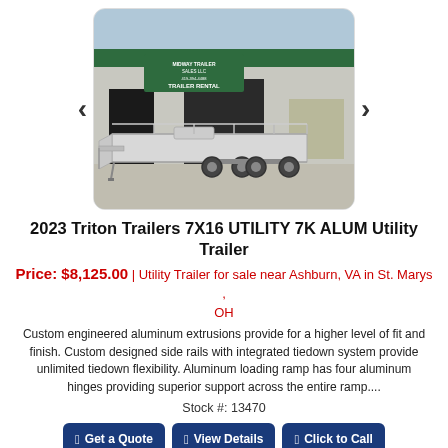[Figure (photo): Aluminum utility trailer parked in front of a building with 'Midway Trailer Sales LLC' and 'Trailer Rental' signage. The trailer is silver/aluminum with dual axles and ramps.]
2023 Triton Trailers 7X16 UTILITY 7K ALUM Utility Trailer
Price: $8,125.00 | Utility Trailer for sale near Ashburn, VA in St. Marys, OH
Custom engineered aluminum extrusions provide for a higher level of fit and finish. Custom designed side rails with integrated tiedown system provide unlimited tiedown flexibility. Aluminum loading ramp has four aluminum hinges providing superior support across the entire ramp....
Stock #: 13470
Get a Quote | View Details | Click to Call